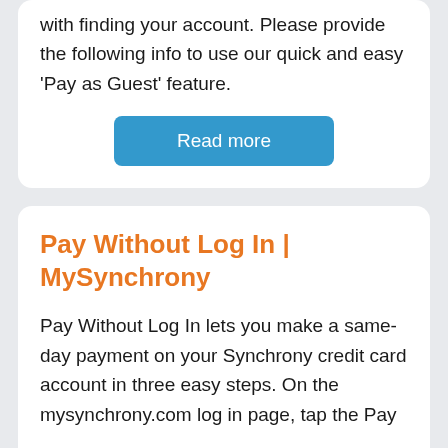with finding your account. Please provide the following info to use our quick and easy 'Pay as Guest' feature.
Read more
Pay Without Log In | MySynchrony
Pay Without Log In lets you make a same-day payment on your Synchrony credit card account in three easy steps. On the mysynchrony.com log in page, tap the Pay …